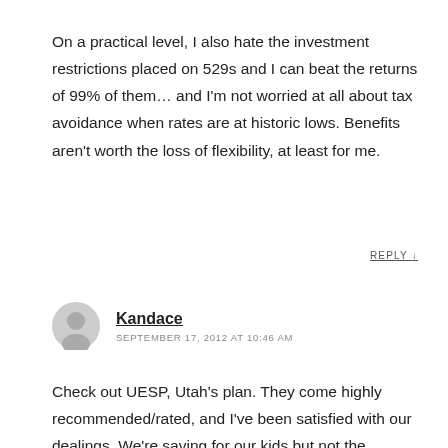On a practical level, I also hate the investment restrictions placed on 529s and I can beat the returns of 99% of them… and I'm not worried at all about tax avoidance when rates are at historic lows. Benefits aren't worth the loss of flexibility, at least for me.
REPLY ↓
Kandace
SEPTEMBER 17, 2012 AT 10:46 AM
Check out UESP, Utah's plan. They come highly recommended/rated, and I've been satisfied with our dealings. We're saving for our kids but not the